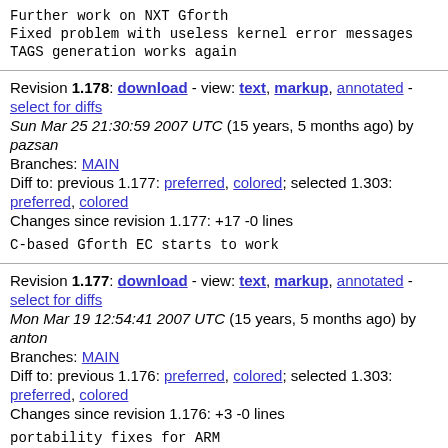Further work on NXT Gforth
Fixed problem with useless kernel error messages
TAGS generation works again
Revision 1.178: download - view: text, markup, annotated - select for diffs
Sun Mar 25 21:30:59 2007 UTC (15 years, 5 months ago) by pazsan
Branches: MAIN
Diff to: previous 1.177: preferred, colored; selected 1.303: preferred, colored
Changes since revision 1.177: +17 -0 lines

C-based Gforth EC starts to work
Revision 1.177: download - view: text, markup, annotated - select for diffs
Mon Mar 19 12:54:41 2007 UTC (15 years, 5 months ago) by anton
Branches: MAIN
Diff to: previous 1.176: preferred, colored; selected 1.303: preferred, colored
Changes since revision 1.176: +3 -0 lines

portability fixes for ARM